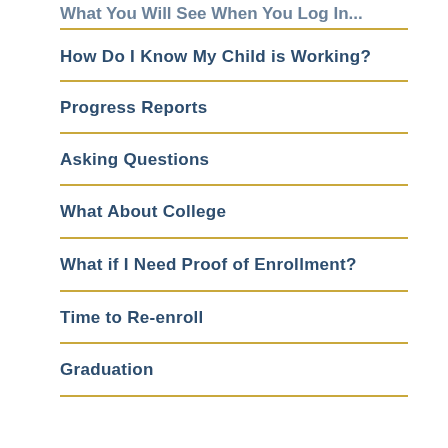What You Will See When You Log In...
How Do I Know My Child is Working?
Progress Reports
Asking Questions
What About College
What if I Need Proof of Enrollment?
Time to Re-enroll
Graduation